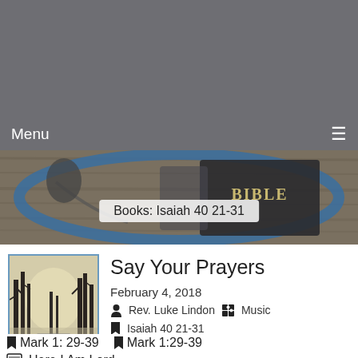Menu ☰
[Figure (photo): Photo of a Bible on a wooden surface with a blue bowl, banner overlay reading 'Books: Isaiah 40 21-31']
Books: Isaiah 40 21-31
[Figure (photo): Thumbnail image of 'Say Your Prayers' sermon cover — bare winter trees in misty forest]
Say Your Prayers
February 4, 2018
Rev. Luke Lindon   Music
Isaiah 40 21-31
Mark 1: 29-39   Mark 1:29-39
Here I Am Lord